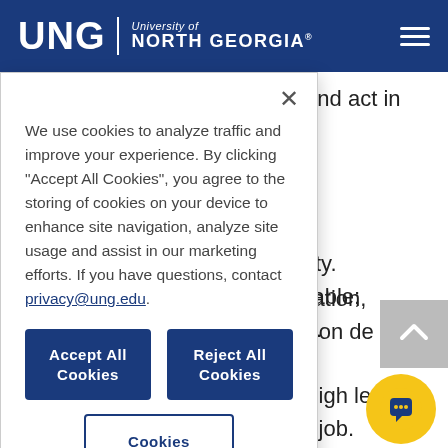UNG | University of North Georgia
We use cookies to analyze traffic and improve your experience. By clicking “Accept All Cookies”, you agree to the storing of cookies on your device to enhance site navigation, analyze site usage and assist in our marketing efforts. If you have questions, contact privacy@ung.edu.
Accept All Cookies
Reject All Cookies
Cookies Settings